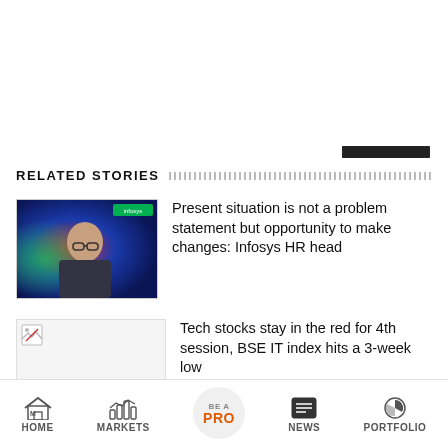RELATED STORIES
[Figure (photo): Portrait photo of a man with glasses against a colorful background with Infosys logo]
Present situation is not a problem statement but opportunity to make changes: Infosys HR head
[Figure (photo): Broken image placeholder thumbnail]
Tech stocks stay in the red for 4th session, BSE IT index hits a 3-week low
HOME  MARKETS  BE A PRO  NEWS  PORTFOLIO